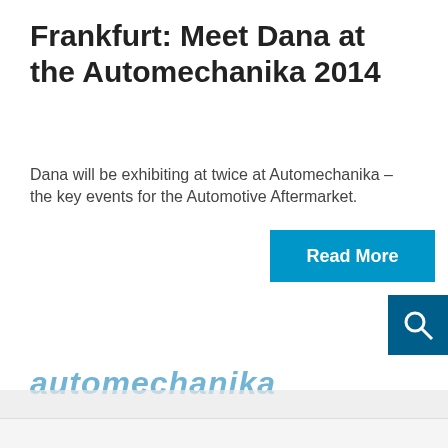Frankfurt: Meet Dana at the Automechanika 2014
Dana will be exhibiting at twice at Automechanika – the key events for the Automotive Aftermarket.
Read More
We use cookies and other technologies
This site uses cookies. By continuing to use this site, closing this banner, or clicking "I Agree", you agree to the use of cookies. Read our cookies policy and privacy statement for more information.
I agree
More information